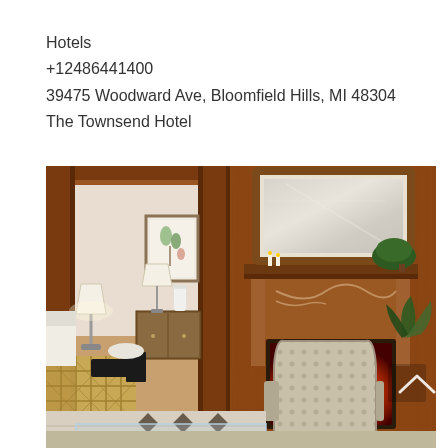Hotels
+12486441400
39475 Woodward Ave, Bloomfield Hills, MI 48304
The Townsend Hotel
[Figure (photo): Interior lobby of The Townsend Hotel featuring warm wood paneling, a decorative fireplace with ornate mantel, a large mirror above the fireplace, elegant upholstered chairs with dotted fabric, a sitting area with glass coffee table, table lamp, artwork on the wall, and marble-patterned floor with diamond inlays.]